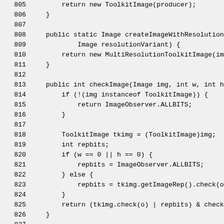[Figure (screenshot): Source code listing in monospace font showing Java methods: createImageWithResolutionVariant, checkImage, and prepareImage, with line numbers 805-835 visible.]